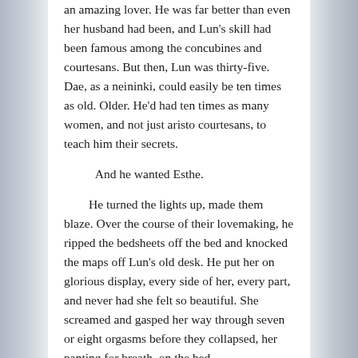an amazing lover. He was far better than even her husband had been, and Lun's skill had been famous among the concubines and courtesans. But then, Lun was thirty-five. Dae, as a neininki, could easily be ten times as old. Older. He'd had ten times as many women, and not just aristo courtesans, to teach him their secrets.

And he wanted Esthe.

He turned the lights up, made them blaze. Over the course of their lovemaking, he ripped the bedsheets off the bed and knocked the maps off Lun's old desk. He put her on glorious display, every side of her, every part, and never had she felt so beautiful. She screamed and gasped her way through seven or eight orgasms before they collapsed, her panting for breath, on the bed.

She shivered a bit from the sweat cooling on her body, and everyone...